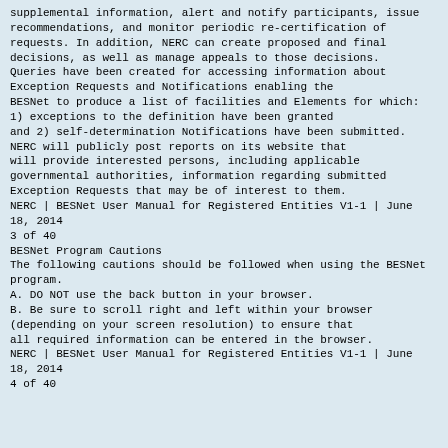supplemental information, alert and notify participants, issue recommendations, and monitor periodic re-certification of requests. In addition, NERC can create proposed and final decisions, as well as manage appeals to those decisions.
Queries have been created for accessing information about Exception Requests and Notifications enabling the
BESNet to produce a list of facilities and Elements for which: 1) exceptions to the definition have been granted
and 2) self-determination Notifications have been submitted. NERC will publicly post reports on its website that
will provide interested persons, including applicable governmental authorities, information regarding submitted
Exception Requests that may be of interest to them.
NERC | BESNet User Manual for Registered Entities V1-1 | June 18, 2014
3 of 40
BESNet Program Cautions
The following cautions should be followed when using the BESNet program.
A. DO NOT use the back button in your browser.
B. Be sure to scroll right and left within your browser (depending on your screen resolution) to ensure that
all required information can be entered in the browser.
NERC | BESNet User Manual for Registered Entities V1-1 | June 18, 2014
4 of 40